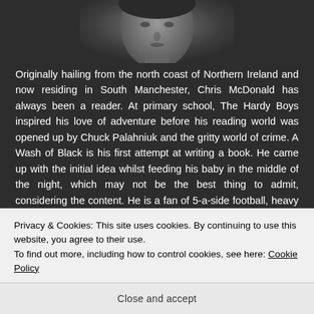[Figure (photo): Black and white portrait photo of a man, partially visible at the top of the page against a dark background]
Originally hailing from the north coast of Northern Ireland and now residing in South Manchester, Chris McDonald has always been a reader. At primary school, The Hardy Boys inspired his love of adventure before his reading world was opened up by Chuck Palahniuk and the gritty world of crime. A Wash of Black is his first attempt at writing a book. He came up with the initial idea whilst feeding his baby in the middle of the night, which may not be the best thing to admit, considering the content. He is a fan of 5-a-side football, heavy metal and dogs. Whispers in the Dark is the
Privacy & Cookies: This site uses cookies. By continuing to use this website, you agree to their use.
To find out more, including how to control cookies, see here: Cookie Policy
Close and accept